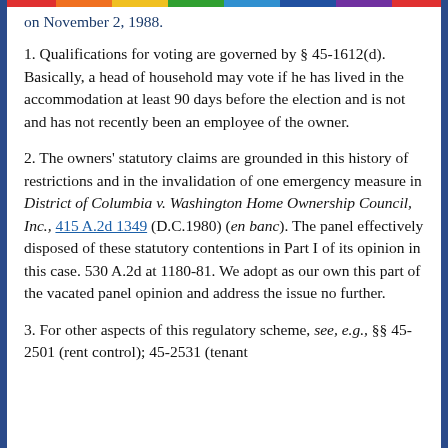on November 2, 1988.
1. Qualifications for voting are governed by § 45-1612(d). Basically, a head of household may vote if he has lived in the accommodation at least 90 days before the election and is not and has not recently been an employee of the owner.
2. The owners' statutory claims are grounded in this history of restrictions and in the invalidation of one emergency measure in District of Columbia v. Washington Home Ownership Council, Inc., 415 A.2d 1349 (D.C.1980) (en banc). The panel effectively disposed of these statutory contentions in Part I of its opinion in this case. 530 A.2d at 1180-81. We adopt as our own this part of the vacated panel opinion and address the issue no further.
3. For other aspects of this regulatory scheme, see, e.g., §§ 45-2501 (rent control); 45-2531 (tenant